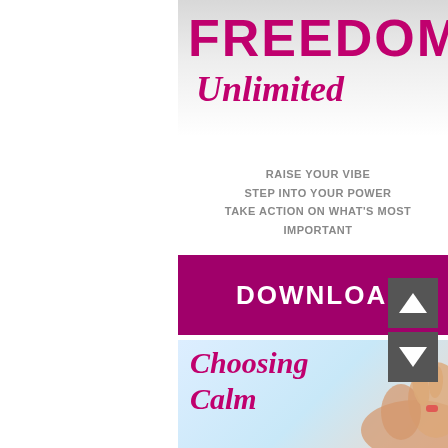[Figure (illustration): Book cover for 'FREEDOM Unlimited' with magenta bold title text, italic subtitle, and taglines: RAISE YOUR VIBE, STEP INTO YOUR POWER, TAKE ACTION ON WHAT'S MOST IMPORTANT]
FREEDOM Unlimited
RAISE YOUR VIBE
STEP INTO YOUR POWER
TAKE ACTION ON WHAT'S MOST IMPORTANT
[Figure (illustration): Purple/magenta Download button with white text 'DOWNLOAD']
[Figure (illustration): Book cover for 'Choosing Calm' with magenta italic script text on a light blue background with a hand in meditation pose]
[Figure (illustration): Navigation UI arrows: up arrow and down arrow buttons in dark gray]